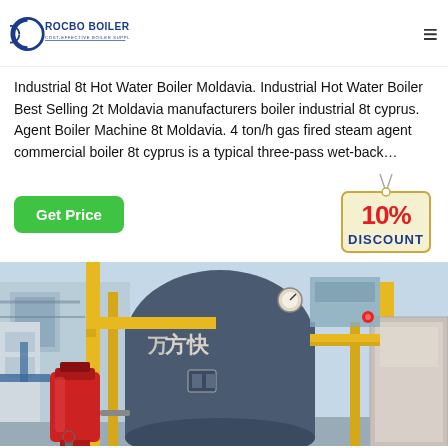ROCBO BOILER — COST-EFFECTIVE BOILER SUPPLIER
Industrial 8t Hot Water Boiler Moldavia. Industrial Hot Water Boiler Best Selling 2t Moldavia manufacturers boiler industrial 8t cyprus. Agent Boiler Machine 8t Moldavia. 4 ton/h gas fired steam agent commercial boiler 8t cyprus is a typical three-pass wet-back…
[Figure (infographic): Green 'Get Price' button and a hanging tag badge showing '10% DISCOUNT']
[Figure (photo): Industrial boiler facility showing a large cylindrical blue boiler with Chinese text (方快), yellow pipes, red fuel tank, and industrial equipment in a factory setting]